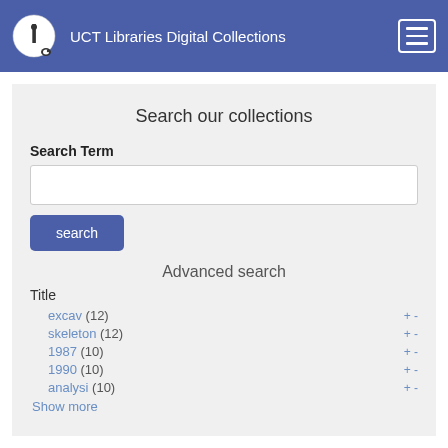UCT Libraries Digital Collections
Search our collections
Search Term
search
Advanced search
Title
excav (12) + -
skeleton (12) + -
1987 (10) + -
1990 (10) + -
analysi (10) + -
Show more